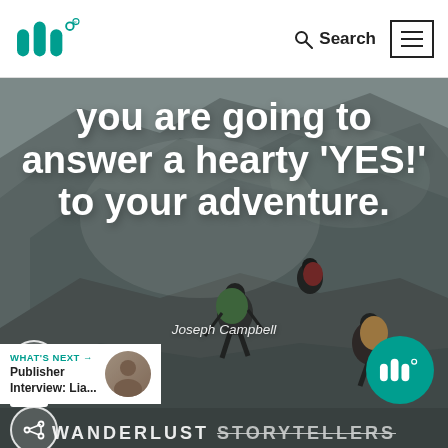Wanderlust logo / Search / Menu navigation bar
[Figure (photo): Hero image of hikers with backpacks climbing a rocky mountain, with white bold quote text overlaid. Social interaction buttons on the left. Attribution to Joseph Campbell. Teal brand logo circle bottom right. 'WANDERLUST STORYTELLERS' text at the bottom.]
you are going to answer a hearty 'YES!' to your adventure.
Joseph Campbell
160
WHAT'S NEXT → Publisher Interview: Lia...
WANDERLUST STORYTELLERS